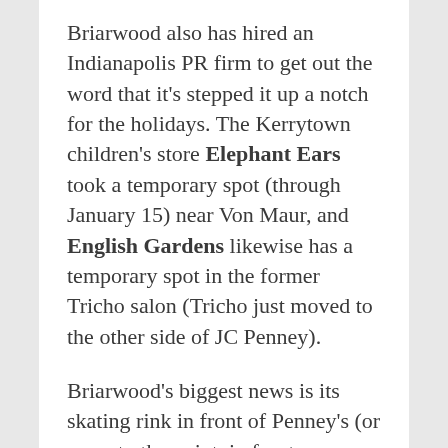Briarwood also has hired an Indianapolis PR firm to get out the word that it's stepped it up a notch for the holidays. The Kerrytown children's store Elephant Ears took a temporary spot (through January 15) near Von Maur, and English Gardens likewise has a temporary spot in the former Tricho salon (Tricho just moved to the other side of JC Penney).
Briarwood's biggest news is its skating rink in front of Penney's (or more to the point, in front